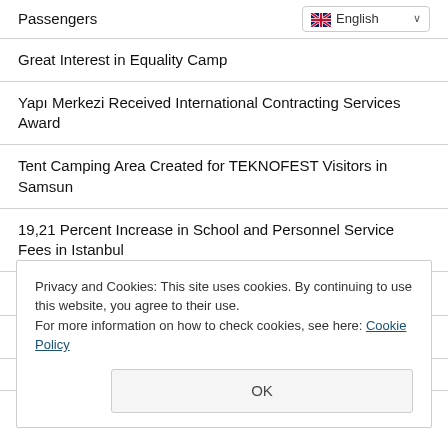Passengers
Great Interest in Equality Camp
Yapı Merkezi Received International Contracting Services Award
Tent Camping Area Created for TEKNOFEST Visitors in Samsun
19,21 Percent Increase in School and Personnel Service Fees in Istanbul
Aircraft Support from Turkey to the Forest Fire in Georgia
Beet Irrigation Advance Payments to be Made Today
Privacy and Cookies: This site uses cookies. By continuing to use this website, you agree to their use.
For more information on how to check cookies, see here: Cookie Policy
Design Your Tent Game